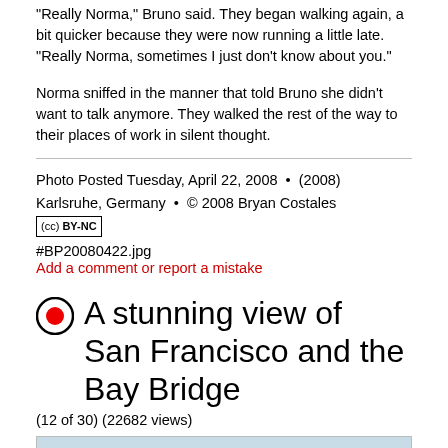"Really Norma," Bruno said. They began walking again, a bit quicker because they were now running a little late. "Really Norma, sometimes I just don't know about you."
Norma sniffed in the manner that told Bruno she didn't want to talk anymore. They walked the rest of the way to their places of work in silent thought.
Photo Posted Tuesday, April 22, 2008  •  (2008) Karlsruhe, Germany  •  © 2008 Bryan Costales
[CC BY-NC badge]
#BP20080422.jpg
Add a comment or report a mistake
A stunning view of San Francisco and the Bay Bridge
(12 of 30) (22682 views)
[Figure (photo): Partial preview of a photo at the bottom of the page]